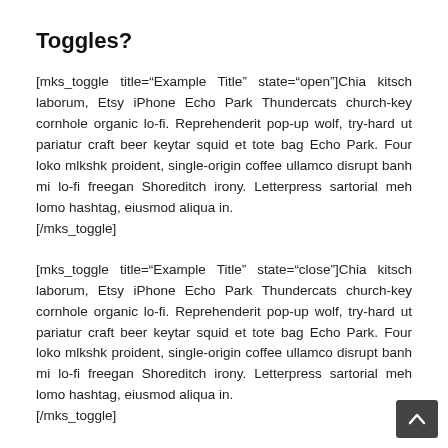Toggles?
[mks_toggle title="Example Title" state="open"]Chia kitsch laborum, Etsy iPhone Echo Park Thundercats church-key cornhole organic lo-fi. Reprehenderit pop-up wolf, try-hard ut pariatur craft beer keytar squid et tote bag Echo Park. Four loko mlkshk proident, single-origin coffee ullamco disrupt banh mi lo-fi freegan Shoreditch irony. Letterpress sartorial meh lomo hashtag, eiusmod aliqua in. [/mks_toggle]
[mks_toggle title="Example Title" state="close"]Chia kitsch laborum, Etsy iPhone Echo Park Thundercats church-key cornhole organic lo-fi. Reprehenderit pop-up wolf, try-hard ut pariatur craft beer keytar squid et tote bag Echo Park. Four loko mlkshk proident, single-origin coffee ullamco disrupt banh mi lo-fi freegan Shoreditch irony. Letterpress sartorial meh lomo hashtag, eiusmod aliqua in. [/mks_toggle]